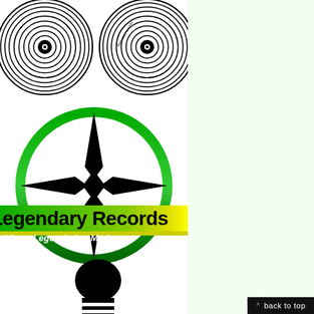[Figure (logo): Two vinyl record logos at the top left, black concentric circle designs]
[Figure (logo): Legendary Records logo: green circle with black compass/star shape, horizontal green-to-yellow gradient banner reading 'Legendary Records' and 'Where Legends Are Made']
[Figure (illustration): Black silhouette of a microphone at the bottom]
^ back to top